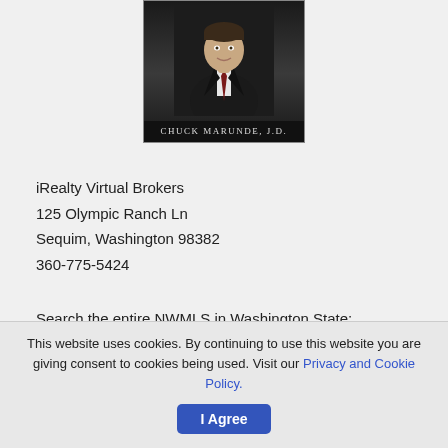[Figure (photo): Headshot photo of Chuck Marunde, J.D. — a man in a black leather jacket and dark tie against a dark background, with name caption below]
iRealty Virtual Brokers
125 Olympic Ranch Ln
Sequim, Washington 98382
360-775-5424
Search the entire NWMLS in Washington State:
Sequim-Homes.com
This website uses cookies. By continuing to use this website you are giving consent to cookies being used. Visit our Privacy and Cookie Policy.
I Agree